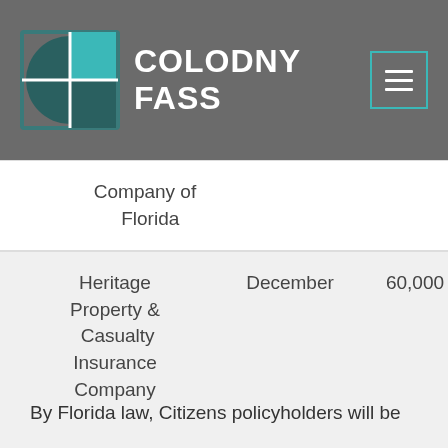[Figure (logo): Colodny Fass logo with teal and dark green geometric icon and white text on gray header background]
| Company of Florida |  |  |  |
| Heritage Property & Casualty Insurance Company | December | 60,000 | Cov… Com… |
By Florida law, Citizens policyholders will be